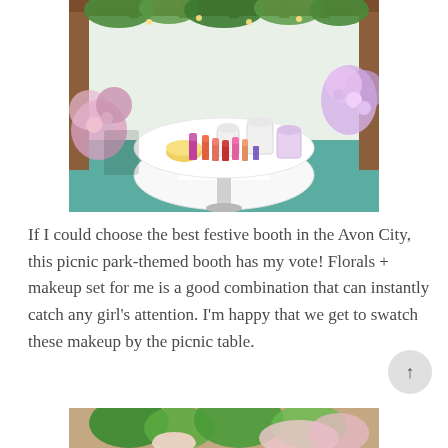[Figure (photo): A picnic park-themed festive booth display featuring lipsticks in various shades arranged on a white round table, with white pitcher-style containers holding makeup products. The setting has floral decorations, a wooden pergola overhead with hanging lights and greenery, colorful flower arrangements on the sides, and a teal/green background.]
If I could choose the best festive booth in the Avon City, this picnic park-themed booth has my vote! Florals + makeup set for me is a good combination that can instantly catch any girl's attention. I'm happy that we get to swatch these makeup by the picnic table.
[Figure (photo): Partial view of a picnic table with food items including what appears to be salad greens and floral decorative elements, partially cropped at the bottom of the page.]